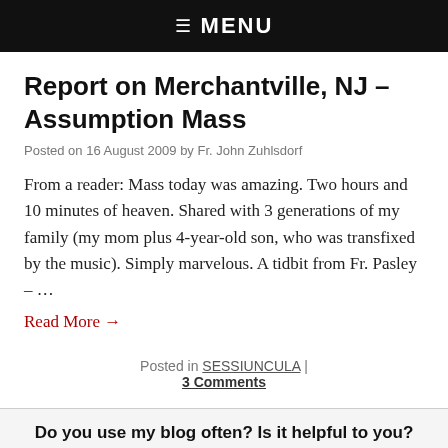☰ MENU
Report on Merchantville, NJ – Assumption Mass
Posted on 16 August 2009 by Fr. John Zuhlsdorf
From a reader: Mass today was amazing. Two hours and 10 minutes of heaven. Shared with 3 generations of my family (my mom plus 4-year-old son, who was transfixed by the music). Simply marvelous. A tidbit from Fr. Pasley – …
Read More →
Posted in SESSIUNCULA | 3 Comments
Do you use my blog often? Is it helpful to you?
If so, please consider subscribing via PayPal to send a monthly